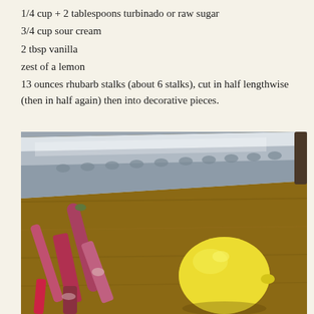1/4 cup + 2 tablespoons turbinado or raw sugar
3/4 cup sour cream
2 tbsp vanilla
zest of a lemon
13 ounces rhubarb stalks (about 6 stalks), cut in half lengthwise (then in half again) then into decorative pieces.
[Figure (photo): A large santoku chef's knife with hollow-ground dimples along the blade resting above cut rhubarb stalks and a lemon on a wooden cutting board.]